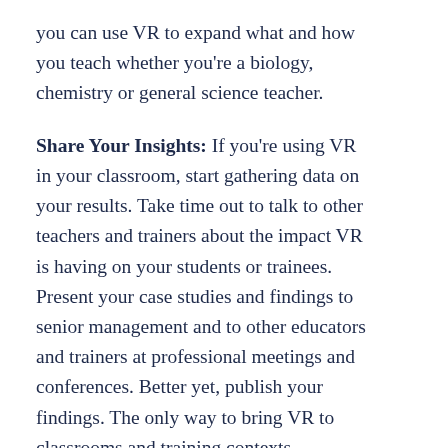you can use VR to expand what and how you teach whether you're a biology, chemistry or general science teacher.
Share Your Insights: If you're using VR in your classroom, start gathering data on your results. Take time out to talk to other teachers and trainers about the impact VR is having on your students or trainees. Present your case studies and findings to senior management and to other educators and trainers at professional meetings and conferences. Better yet, publish your findings. The only way to bring VR to classrooms and training contexts nationwide is to the promote its potential benefits.